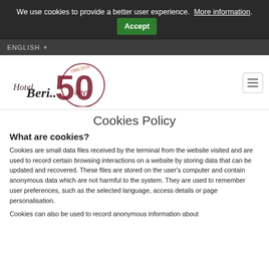We use cookies to provide a better user experience. More information. Accept
ENGLISH
[Figure (logo): Hotel Beri 50 anys logo with circle and text '1966-2016']
Cookies Policy
What are cookies?
Cookies are small data files received by the terminal from the website visited and are used to record certain browsing interactions on a website by storing data that can be updated and recovered. These files are stored on the user's computer and contain anonymous data which are not harmful to the system. They are used to remember user preferences, such as the selected language, access details or page personalisation.
Cookies can also be used to record anonymous information about